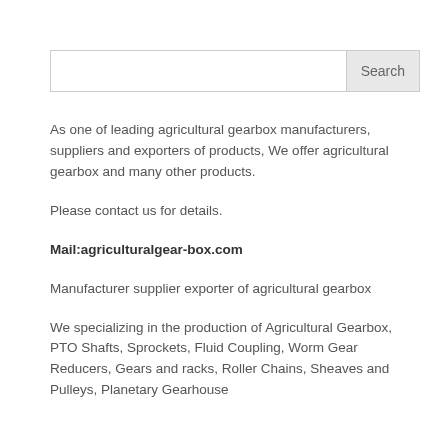Search
As one of leading agricultural gearbox manufacturers, suppliers and exporters of products, We offer agricultural gearbox and many other products.
Please contact us for details.
Mail:agriculturalgear-box.com
Manufacturer supplier exporter of agricultural gearbox
We specializing in the production of Agricultural Gearbox, PTO Shafts, Sprockets, Fluid Coupling, Worm Gear Reducers, Gears and racks, Roller Chains, Sheaves and Pulleys, Planetary Gearhouse